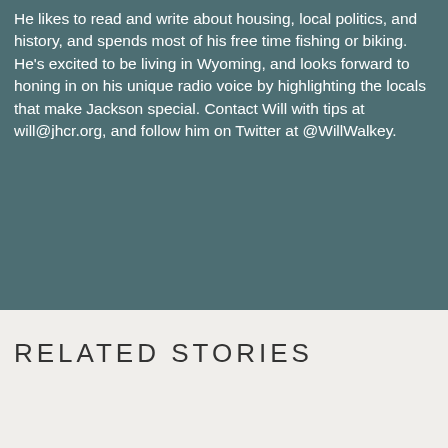He likes to read and write about housing, local politics, and history, and spends most of his free time fishing or biking. He's excited to be living in Wyoming, and looks forward to honing in on his unique radio voice by highlighting the locals that make Jackson special. Contact Will with tips at will@jhcr.org, and follow him on Twitter at @WillWalkey.
RELATED STORIES